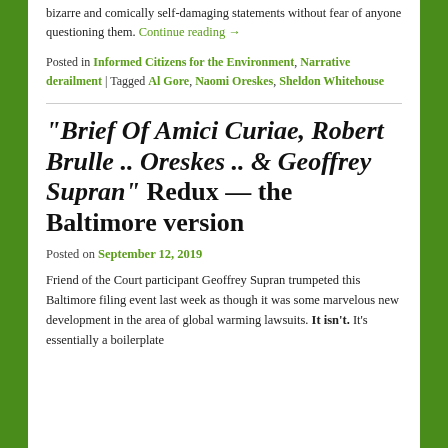bizarre and comically self-damaging statements without fear of anyone questioning them. Continue reading →
Posted in Informed Citizens for the Environment, Narrative derailment | Tagged Al Gore, Naomi Oreskes, Sheldon Whitehouse
"Brief Of Amici Curiae, Robert Brulle .. Oreskes .. & Geoffrey Supran" Redux — the Baltimore version
Posted on September 12, 2019
Friend of the Court participant Geoffrey Supran trumpeted this Baltimore filing event last week as though it was some marvelous new development in the area of global warming lawsuits. It isn't. It's essentially a boilerplate